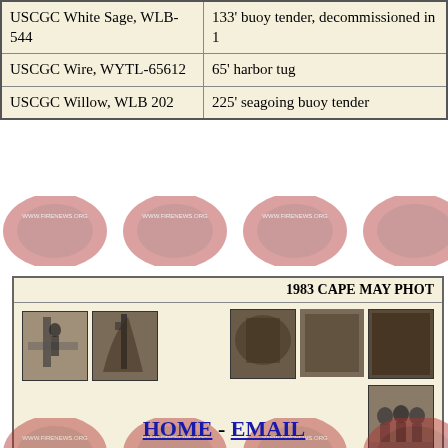| Vessel | Description |
| --- | --- |
| USCGC White Sage, WLB-544 | 133' buoy tender, decommissioned in 1... |
| USCGC Wire, WYTL-65612 | 65' harbor tug |
| USCGC Willow, WLB 202 | 225' seagoing buoy tender |
[Figure (photo): Repeating fire/rescue badge watermark background strip]
1983 CAPE MAY PHOTO
[Figure (photo): Collection of 1983 Cape May historical black and white thumbnail photographs showing people climbing and group shots]
[Figure (photo): Repeating fire/rescue badge watermark background strip]
HOME - EMAIL